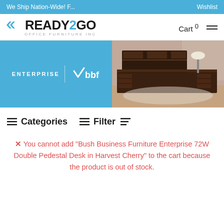We Ship Nation-Wide! F...    Wishlist
[Figure (logo): Ready2Go Office Furniture Inc logo with blue arrow icon and gray subtitle text]
Cart 0
[Figure (photo): Enterprise | bbf banner with blue left half showing Enterprise and bbf logos, and right half showing dark wood office furniture set in a room]
≡≡ Categories   ≡≡ Filter ≡
✕ You cannot add "Bush Business Furniture Enterprise 72W Double Pedestal Desk in Harvest Cherry" to the cart because the product is out of stock.